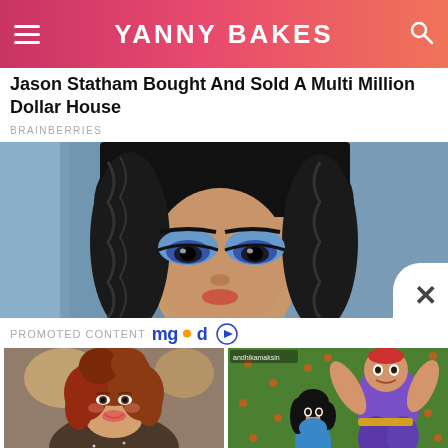YANNY BAKES
Jason Statham Bought And Sold A Multi Million Dollar House
BRAINBERRIES
[Figure (photo): Close-up of a woman with dramatic Egyptian-style eye makeup and black braided wig, blue eyeshadow, intense gaze]
PROMOTED CONTENT mgid
[Figure (photo): Young woman with auburn curly hair smiling, wearing a sparkly necklace]
8 Pop Culture Fashion Icons Who Seriously Inspired Us
[Figure (photo): Animated scene from Aladdin on green background with Jasmine and Genie characters dancing]
He Can Show You The World All Right, But It's All Green